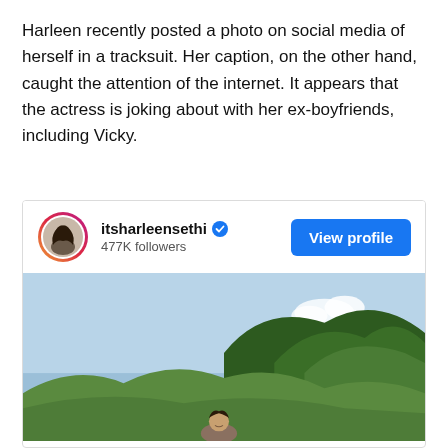Harleen recently posted a photo on social media of herself in a tracksuit. Her caption, on the other hand, caught the attention of the internet. It appears that the actress is joking about with her ex-boyfriends, including Vicky.
[Figure (screenshot): Instagram profile card for itsharleensethi with 477K followers, a View profile button, and a photo of a woman smiling outdoors with mountains and blue sky in the background.]